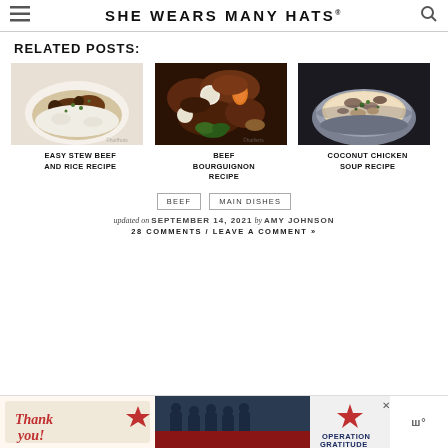SHE WEARS MANY HATS
RELATED POSTS:
[Figure (photo): Bowl of stew beef over rice with herbs]
EASY STEW BEEF AND RICE RECIPE
[Figure (photo): Beef bourguignon with vegetables and parsley]
BEEF BOURGUIGNON RECIPE
[Figure (photo): Bowl of coconut chicken soup with mushrooms]
COCONUT CHICKEN SOUP RECIPE
BEEF    MAIN DISHES
updated on SEPTEMBER 14, 2021 by AMY JOHNSON
28 COMMENTS / LEAVE A COMMENT »
[Figure (photo): Operation Gratitude advertisement banner with thank you firefighters image]